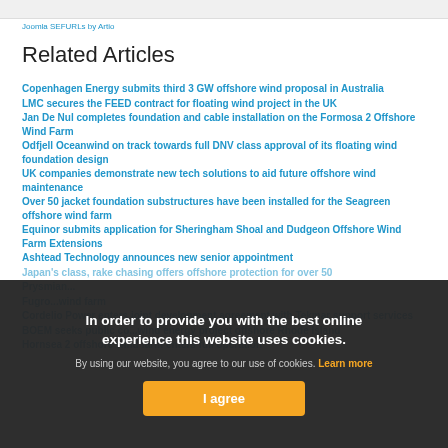Joomla SEFURLs by Artio
Related Articles
Copenhagen Energy submits third 3 GW offshore wind proposal in Australia
LMC secures the FEED contract for floating wind project in the UK
Jan De Nul completes foundation and cable installation on the Formosa 2 Offshore Wind Farm
Odfjell Oceanwind on track towards full DNV class approval of its floating wind foundation design
UK companies demonstrate new tech solutions to aid future offshore wind maintenance
Over 50 jacket foundation substructures have been installed for the Seagreen offshore wind farm
Equinor submits application for Sheringham Shoal and Dudgeon Offshore Wind Farm Extensions
Ashtead Technology announces new senior appointment
Japan's class, rake chasing offers offshore protection for over 50
Prysmian...
Fugro...wind farm
Cordelio Power enters joint development agreement with Tekmar support services
BOEM seeks public co...wind energy project offshore Rhode Island
Hornsea 2 offshore wind farm enters full operation
In order to provide you with the best online experience this website uses cookies. By using our website, you agree to our use of cookies. Learn more
I agree